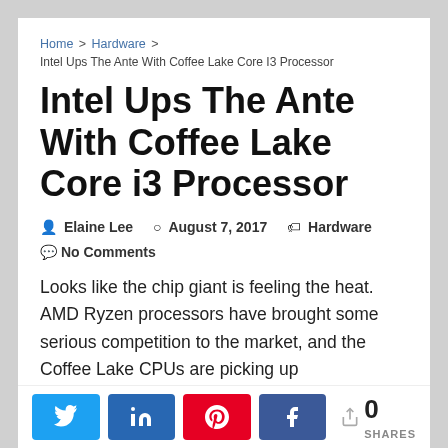Home > Hardware > Intel Ups The Ante With Coffee Lake Core I3 Processor
Intel Ups The Ante With Coffee Lake Core i3 Processor
Elaine Lee  August 7, 2017  Hardware  No Comments
Looks like the chip giant is feeling the heat. AMD Ryzen processors have brought some serious competition to the market, and the Coffee Lake CPUs are picking up improvements left and right.
Basically, Intel was getting away with just about